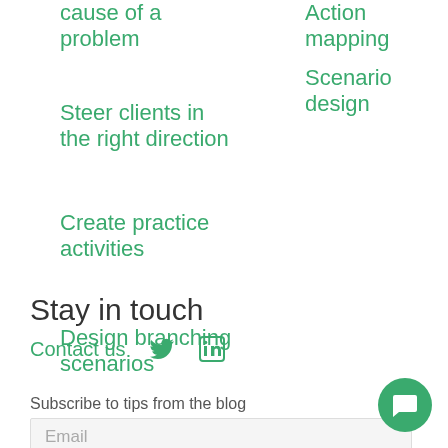cause of a problem
Steer clients in the right direction
Create practice activities
Design branching scenarios
Action mapping
Scenario design
Stay in touch
Contact us
Subscribe to tips from the blog
Email